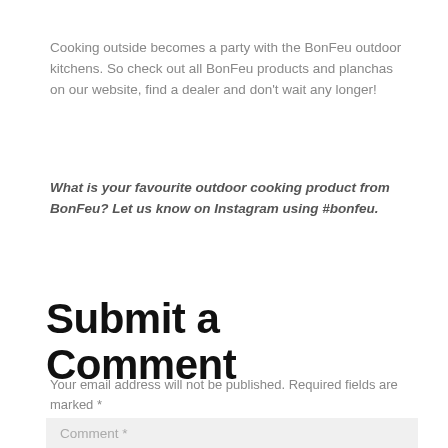Cooking outside becomes a party with the BonFeu outdoor kitchens. So check out all BonFeu products and planchas on our website, find a dealer and don't wait any longer!
What is your favourite outdoor cooking product from BonFeu? Let us know on Instagram using #bonfeu.
Submit a Comment
Your email address will not be published. Required fields are marked *
Comment *